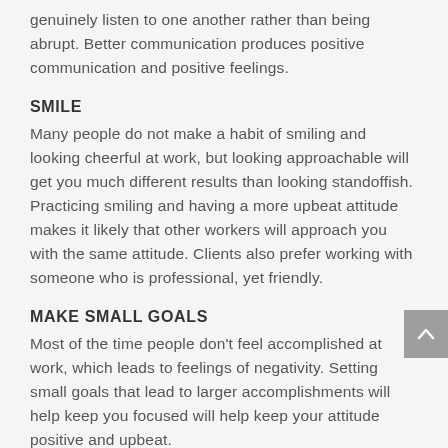genuinely listen to one another rather than being abrupt. Better communication produces positive communication and positive feelings.
SMILE
Many people do not make a habit of smiling and looking cheerful at work, but looking approachable will get you much different results than looking standoffish. Practicing smiling and having a more upbeat attitude makes it likely that other workers will approach you with the same attitude. Clients also prefer working with someone who is professional, yet friendly.
MAKE SMALL GOALS
Most of the time people don't feel accomplished at work, which leads to feelings of negativity. Setting small goals that lead to larger accomplishments will help keep you focused will help keep your attitude positive and upbeat.